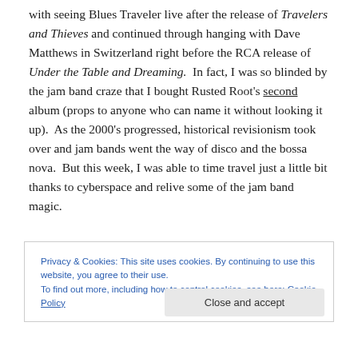with seeing Blues Traveler live after the release of Travelers and Thieves and continued through hanging with Dave Matthews in Switzerland right before the RCA release of Under the Table and Dreaming. In fact, I was so blinded by the jam band craze that I bought Rusted Root's second album (props to anyone who can name it without looking it up). As the 2000's progressed, historical revisionism took over and jam bands went the way of disco and the bossa nova. But this week, I was able to time travel just a little bit thanks to cyberspace and relive some of the jam band magic.
Privacy & Cookies: This site uses cookies. By continuing to use this website, you agree to their use. To find out more, including how to control cookies, see here: Cookie Policy
Close and accept